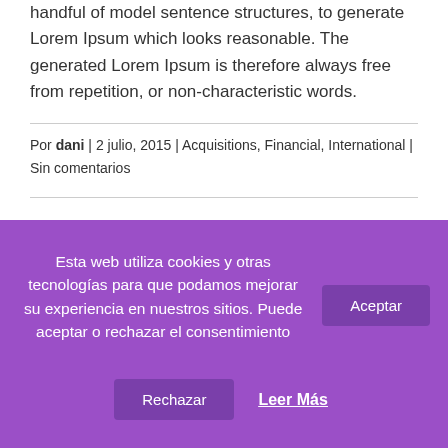handful of model sentence structures, to generate Lorem Ipsum which looks reasonable. The generated Lorem Ipsum is therefore always free from repetition, or non-characteristic words.
Por dani | 2 julio, 2015 | Acquisitions, Financial, International | Sin comentarios
Esta web utiliza cookies y otras tecnologías para que podamos mejorar su experiencia en nuestros sitios. Puede aceptar o rechazar el consentimiento
Aceptar
Rechazar
Leer Más